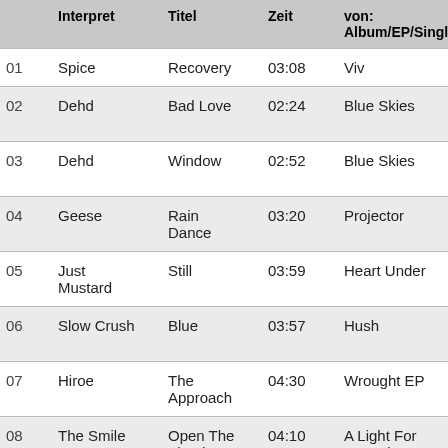|  | Interpret | Titel | Zeit | von: Album/EP/Single | L |
| --- | --- | --- | --- | --- | --- |
| 01 | Spice | Recovery | 03:08 | Viv | D |
| 02 | Dehd | Bad Love | 02:24 | Blue Skies | R R |
| 03 | Dehd | Window | 02:52 | Blue Skies | R R |
| 04 | Geese | Rain Dance | 03:20 | Projector | R |
| 05 | Just Mustard | Still | 03:59 | Heart Under | R |
| 06 | Slow Crush | Blue | 03:57 | Hush | C R |
| 07 | Hiroe | The Approach | 04:30 | Wrought EP | R |
| 08 | The Smile | Open The Floodgates | 04:10 | A Light For Attracting | S |